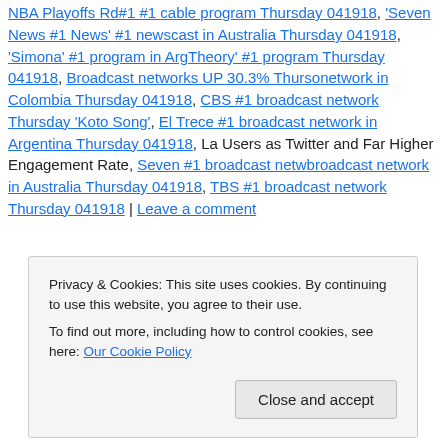NBA Playoffs Rd#1 #1 cable program Thursday 041918, 'Seven News #1 News' #1 newscast in Australia Thursday 041918, 'Simona' #1 program in Argentina Theory' #1 program Thursday 041918, Broadcast networks UP 30.3% Thursday network in Colombia Thursday 041918, CBS #1 broadcast network Thursday 'Koto Song', El Trece #1 broadcast network in Argentina Thursday 041918, La Users as Twitter and Far Higher Engagement Rate, Seven #1 broadcast network broadcast network in Australia Thursday 041918, TBS #1 broadcast network Thursday 041918 | Leave a comment
Privacy & Cookies: This site uses cookies. By continuing to use this website, you agree to their use. To find out more, including how to control cookies, see here: Our Cookie Policy
Close and accept